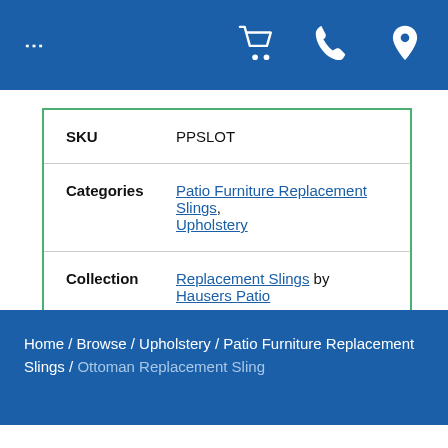... [cart icon] [phone icon] [location icon]
| Field | Value |
| --- | --- |
| SKU | PPSLOT |
| Categories | Patio Furniture Replacement Slings, Upholstery |
| Collection | Replacement Slings by Hausers Patio |
Home / Browse / Upholstery / Patio Furniture Replacement Slings / Ottoman Replacement Sling